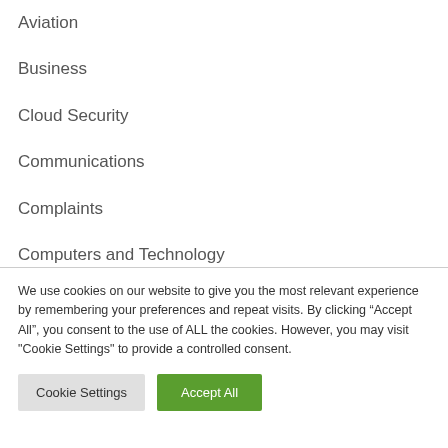Aviation
Business
Cloud Security
Communications
Complaints
Computers and Technology
Culinary
We use cookies on our website to give you the most relevant experience by remembering your preferences and repeat visits. By clicking “Accept All”, you consent to the use of ALL the cookies. However, you may visit "Cookie Settings" to provide a controlled consent.
Cookie Settings | Accept All